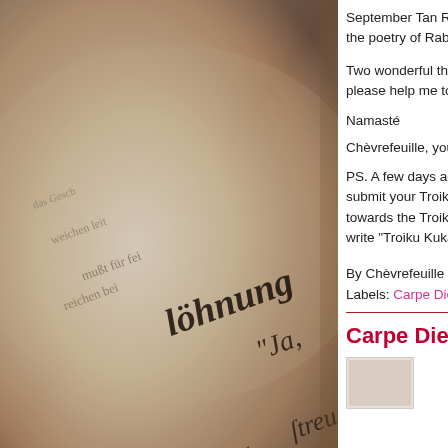[Figure (photo): Close-up photograph of an old book with blackletter/gothic German text, sepia-toned, showing pages with words like 'söhnung', 'Ja', 'Er', 'streu', 'der']
September Tan Renga with the poetry of Rabindra
Two wonderful themes, please help me to dec
Namasté
Chèvrefeuille, your ho
PS. A few days ago I c submit your Troiku unti towards the Troiku Ku write "Troiku Kukai 2"
By Chèvrefeuille - Aug
Labels: Carpe Diem E
Carpe Diem #
[Figure (photo): Small thumbnail image, partially visible]